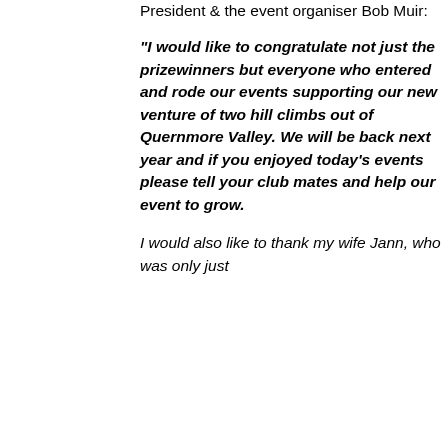President & the event organiser Bob Muir:
"I would like to congratulate not just the prizewinners but everyone who entered and rode our events supporting our new venture of two hill climbs out of Quernmore Valley. We will be back next year and if you enjoyed today's events please tell your club mates and help our event to grow.
I would also like to thank my wife Jann, who was only just